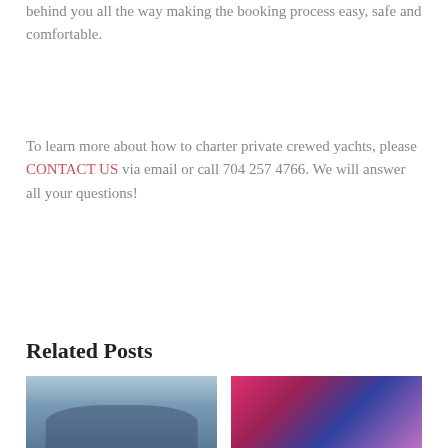behind you all the way making the booking process easy, safe and comfortable.
To learn more about how to charter private crewed yachts, please CONTACT US via email or call 704 257 4766. We will answer all your questions!
Related Posts
[Figure (photo): Two children in life jackets on the water]
[Figure (photo): Colorful decorative objects, possibly carnival masks or ornaments in blue, pink and floral patterns]